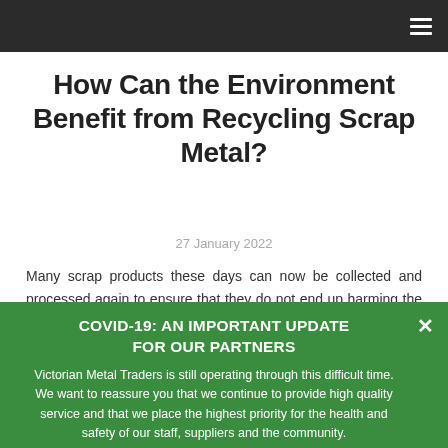How Can the Environment Benefit from Recycling Scrap Metal?
27 January 2022
Many scrap products these days can now be collected and processed again to ensure that they do not end up harming the environment. And one of the materials that these products often possess is metal. Metal is known to be one of the most recycled
COVID-19: AN IMPORTANT UPDATE FOR OUR PARTNERS
Victorian Metal Traders is still operating through this difficult time. We want to reassure you that we continue to provide high quality service and that we place the highest priority for the health and safety of our staff, suppliers and the community.